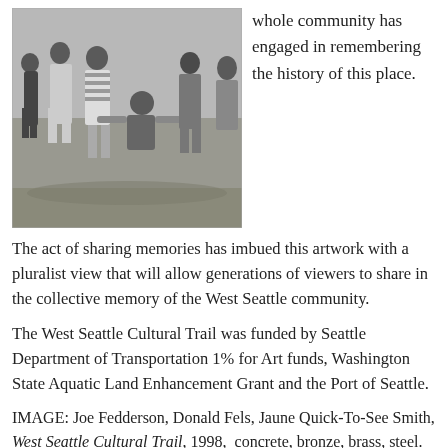[Figure (photo): Black and white historical photograph of a group of people in early 20th century swimwear/beach attire, posed on a beach.]
whole community has engaged in remembering the history of this place.
The act of sharing memories has imbued this artwork with a pluralist view that will allow generations of viewers to share in the collective memory of the West Seattle community.
The West Seattle Cultural Trail was funded by Seattle Department of Transportation 1% for Art funds, Washington State Aquatic Land Enhancement Grant and the Port of Seattle.
IMAGE: Joe Fedderson, Donald Fels, Jaune Quick-To-See Smith, West Seattle Cultural Trail, 1998, concrete, bronze, brass, steel. Located at Alki Beach.
[Figure (logo): 40th anniversary logo with teal circle and '40' numeral]
Celebrating 40 Years of Activating
Weekly Art Hit is featuring artworks every week from the